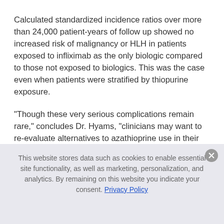Calculated standardized incidence ratios over more than 24,000 patient-years of follow up showed no increased risk of malignancy or HLH in patients exposed to infliximab as the only biologic compared to those not exposed to biologics. This was the case even when patients were stratified by thiopurine exposure.
“Though these very serious complications remain rare,” concludes Dr. Hyams, “clinicians may want to re-evaluate alternatives to azathioprine use in their patients.”
This website stores data such as cookies to enable essential site functionality, as well as marketing, personalization, and analytics. By remaining on this website you indicate your consent. Privacy Policy